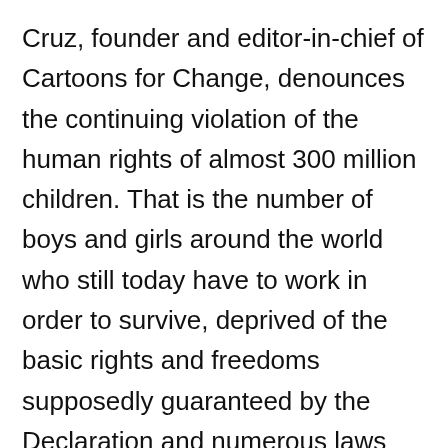Cruz, founder and editor-in-chief of Cartoons for Change, denounces the continuing violation of the human rights of almost 300 million children. That is the number of boys and girls around the world who still today have to work in order to survive, deprived of the basic rights and freedoms supposedly guaranteed by the Declaration and numerous laws and treaties that followed it.
Although developed nations are bound by international and national laws to respect human rights and the rights of children, the